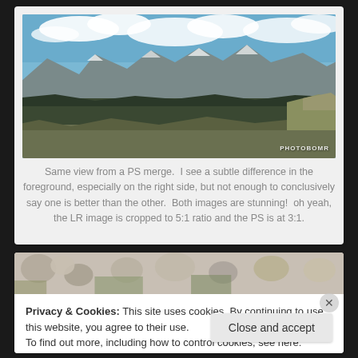[Figure (photo): Panoramic mountain landscape with blue sky, white clouds, rocky peaks, forested valley below, and rocky foreground. Watermark reading 'PHOTOBOMR' in bottom right corner.]
Same view from a PS merge.  I see a subtle difference in the foreground, especially on the right side, but not enough to conclusively say one is better than the other.  Both images are stunning!  oh yeah, the LR image is cropped to 5:1 ratio and the PS is at 3:1.
[Figure (photo): Partial photo strip showing rocks and foliage, partially obscured by cookie consent overlay.]
Privacy & Cookies: This site uses cookies. By continuing to use this website, you agree to their use.
To find out more, including how to control cookies, see here: Cookie Policy
Close and accept